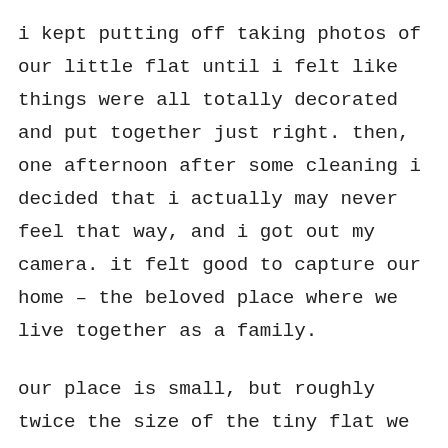i kept putting off taking photos of our little flat until i felt like things were all totally decorated and put together just right. then, one afternoon after some cleaning i decided that i actually may never feel that way, and i got out my camera. it felt good to capture our home – the beloved place where we live together as a family.

our place is small, but roughly twice the size of the tiny flat we